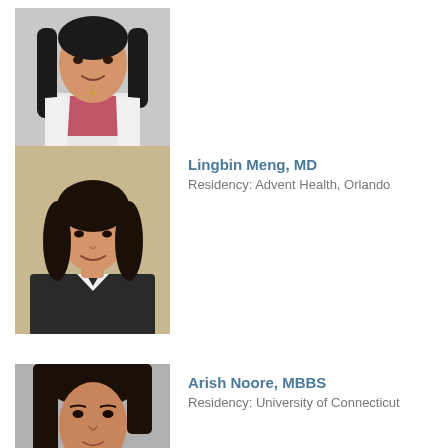[Figure (photo): Headshot of a woman with long black hair wearing a white lab coat and pink top, smiling at camera]
[Figure (photo): Headshot of Lingbin Meng, MD - a woman with short dark wavy hair wearing a dark jacket with white collar, against a beige background]
Lingbin Meng, MD
Residency: Advent Health, Orlando
[Figure (photo): Partial headshot of Arish Noore, MBBS - a woman with dark hair, partially visible at bottom of page]
Arish Noore, MBBS
Residency: University of Connecticut